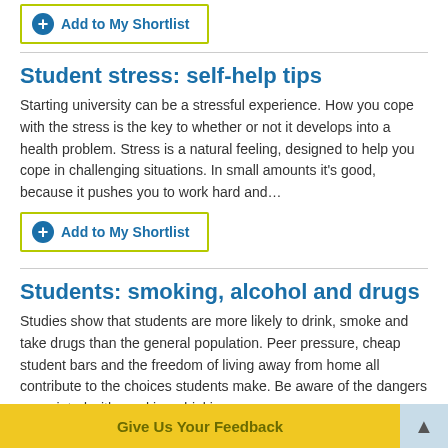Add to My Shortlist
Student stress: self-help tips
Starting university can be a stressful experience. How you cope with the stress is the key to whether or not it develops into a health problem. Stress is a natural feeling, designed to help you cope in challenging situations. In small amounts it's good, because it pushes you to work hard and…
Add to My Shortlist
Students: smoking, alcohol and drugs
Studies show that students are more likely to drink, smoke and take drugs than the general population. Peer pressure, cheap student bars and the freedom of living away from home all contribute to the choices students make. Be aware of the dangers associated with smoking, drinking…
Add to My Shortlist